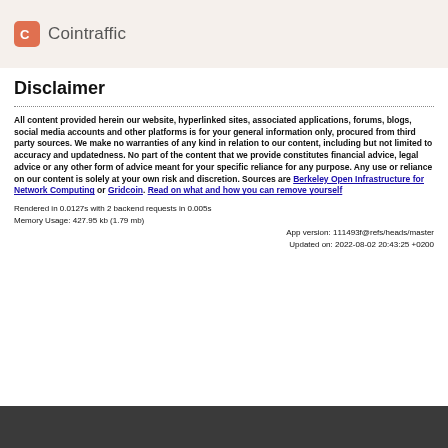Cointraffic
Disclaimer
All content provided herein our website, hyperlinked sites, associated applications, forums, blogs, social media accounts and other platforms is for your general information only, procured from third party sources. We make no warranties of any kind in relation to our content, including but not limited to accuracy and updatedness. No part of the content that we provide constitutes financial advice, legal advice or any other form of advice meant for your specific reliance for any purpose. Any use or reliance on our content is solely at your own risk and discretion. Sources are Berkeley Open Infrastructure for Network Computing or Gridcoin. Read on what and how you can remove yourself
Rendered in 0.0127s with 2 backend requests in 0.005s
Memory Usage: 427.95 kb (1.79 mb)
App version: 111493f@refs/heads/master
Updated on: 2022-08-02 20:43:25 +0200